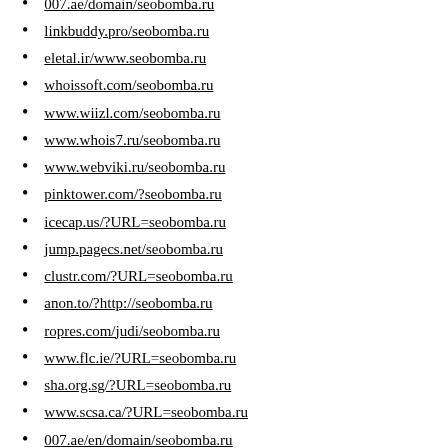007.ae/domain/seobomba.ru
linkbuddy.pro/seobomba.ru
eletal.ir/www.seobomba.ru
whoissoft.com/seobomba.ru
www.wiizl.com/seobomba.ru
www.whois7.ru/seobomba.ru
www.webviki.ru/seobomba.ru
pinktower.com/?seobomba.ru
icecap.us/?URL=seobomba.ru
jump.pagecs.net/seobomba.ru
clustr.com/?URL=seobomba.ru
anon.to/?http://seobomba.ru
ropres.com/judi/seobomba.ru
www.flc.ie/?URL=seobomba.ru
sha.org.sg/?URL=seobomba.ru
www.scsa.ca/?URL=seobomba.ru
007.ae/en/domain/seobomba.ru
whois.chinaz.com/seobomba.ru
ssylki.info/site/seobomba.ru